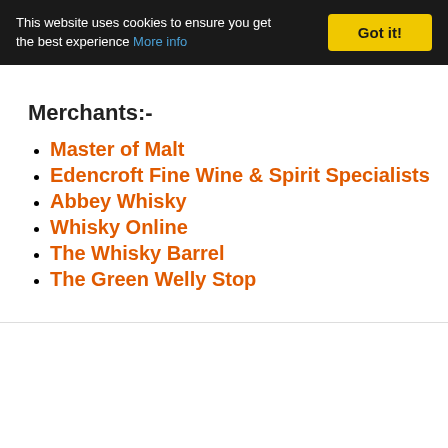This website uses cookies to ensure you get the best experience More info | Got it!
Merchants:-
Master of Malt
Edencroft Fine Wine & Spirit Specialists
Abbey Whisky
Whisky Online
The Whisky Barrel
The Green Welly Stop
FILED UNDER: ISLAY
TAGGED WITH: DRAMS, ISLAY, WHISKY, YEAR